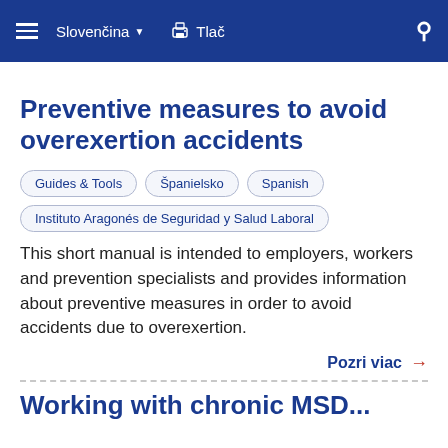Slovenčina  Tlač
Preventive measures to avoid overexertion accidents
Guides & Tools
Španielsko
Spanish
Instituto Aragonés de Seguridad y Salud Laboral
This short manual is intended to employers, workers and prevention specialists and provides information about preventive measures in order to avoid accidents due to overexertion.
Pozri viac →
Working with chronic MSD...